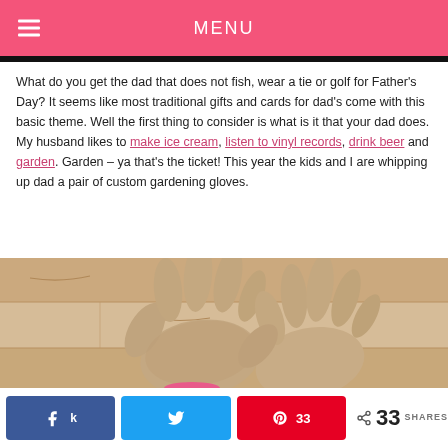MENU
What do you get the dad that does not fish, wear a tie or golf for Father's Day? It seems like most traditional gifts and cards for dad's come with this basic theme. Well the first thing to consider is what is it that your dad does. My husband likes to make ice cream, listen to vinyl records, drink beer and garden. Garden – ya that's the ticket! This year the kids and I are whipping up dad a pair of custom gardening gloves.
[Figure (photo): A pair of tan/beige gardening gloves laid flat on a light wood floor, with a pink ribbon/tie visible at the wrist of one glove.]